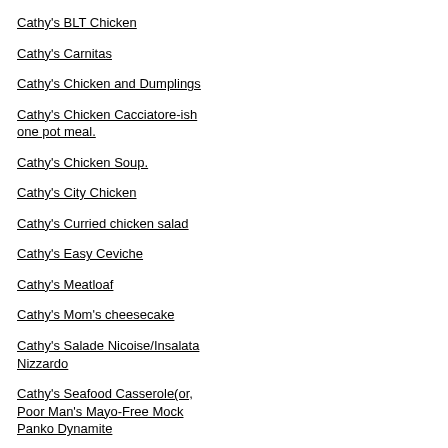Cathy's BLT Chicken
Cathy's Carnitas
Cathy's Chicken and Dumplings
Cathy's Chicken Cacciatore-ish one pot meal.
Cathy's Chicken Soup.
Cathy's City Chicken
Cathy's Curried chicken salad
Cathy's Easy Ceviche
Cathy's Meatloaf
Cathy's Mom's cheesecake
Cathy's Salade Nicoise/Insalata Nizzardo
Cathy's Seafood Casserole(or, Poor Man's Mayo-Free Mock Panko Dynamite
Cathy's Simple grilled lamb
Cathy's Stuffed cabbage-A Polish casser-roll
Cathy's Tilapia Casserole